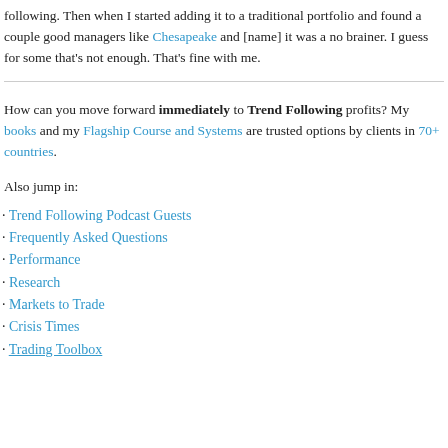following. Then when I started adding it to a traditional portfolio and found a couple good managers like Chesapeake and [name] it was a no brainer. I guess for some that's not enough. That's fine with me.
How can you move forward immediately to Trend Following profits? My books and my Flagship Course and Systems are trusted options by clients in 70+ countries.
Also jump in:
Trend Following Podcast Guests
Frequently Asked Questions
Performance
Research
Markets to Trade
Crisis Times
Trading Toolbox